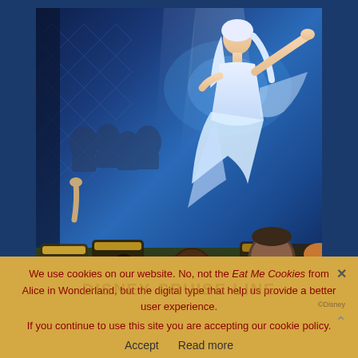[Figure (photo): Artist rendering of a Disney Cruise Line theatre show, showing Elsa from Frozen performing on stage in a white gown with arm outstretched, while an audience of families watches from theatre seats below. The scene is lit in blue theatrical lighting with diamond-pattern wall decor in the background.]
Artist Rendering. Images do not represent health and safety measures that may be in place during future sailings, such as face coverings and physical distancing.
We use cookies on our website. No, not the Eat Me Cookies from Alice in Wonderland, but the digital type that help us provide a better user experience. If you continue to use this site you are accepting our cookie policy.
Accept   Read more